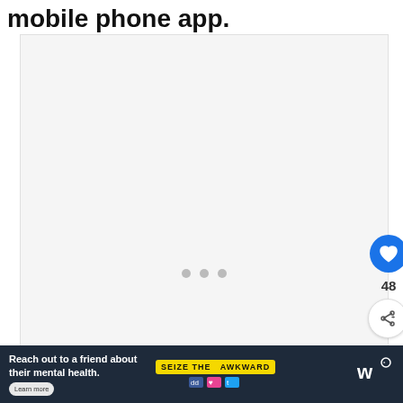mobile phone app.
[Figure (screenshot): A large image placeholder area with a light gray background, showing three dots (loading indicators) in the center. On the right side there is a blue heart/like button, a count of 48, and a share button. Below those is a 'WHAT'S NEXT' card showing a thumbnail and text 'Cash App ATM | How Your...']
[Figure (photo): Advertisement banner at the bottom: dark navy background with white text 'Reach out to a friend about their mental health.' with a 'Learn more' button and a 'SEIZE THE AWKWARD' yellow badge with icons.]